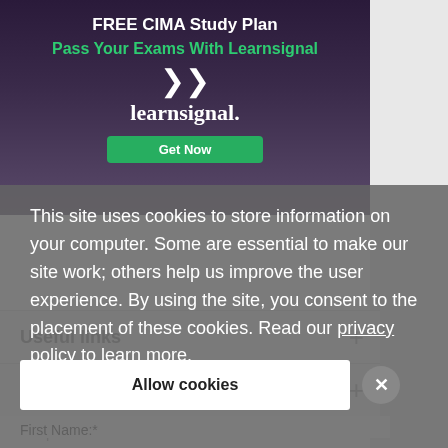[Figure (screenshot): Learnsignal ad banner: FREE CIMA Study Plan, Pass Your Exams With Learnsignal, double checkmark, learnsignal. logo, Get Now button]
This site uses cookies to store information on your computer. Some are essential to make our site work; others help us improve the user experience. By using the site, you consent to the placement of these cookies. Read our privacy policy to learn more.
Useful links
CIMA Tools & Sites
Allow cookies
Request more information
First Name:*